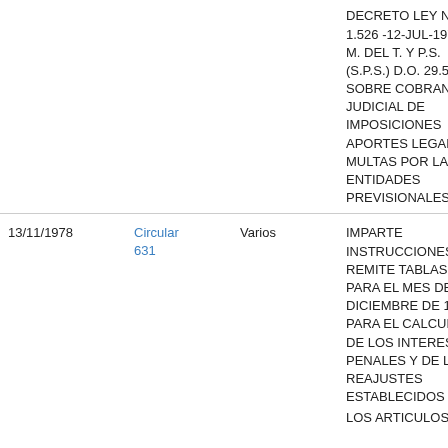| Fecha | Tipo | Destinatario | Descripción |
| --- | --- | --- | --- |
|  |  |  | DECRETO LEY Nº 1.526 -12-JUL-1976- M. DEL T. Y P.S. (S.P.S.) D.O. 29.527 SOBRE COBRANZA JUDICIAL DE IMPOSICIONES APORTES LEGALES Y MULTAS POR LAS ENTIDADES PREVISIONALES |
| 13/11/1978 | Circular 631 | Varios | IMPARTE INSTRUCCIONES Y REMITE TABLAS PARA EL MES DE DICIEMBRE DE 1978 PARA EL CALCULO DE LOS INTERESES PENALES Y DE LOS REAJUSTES ESTABLECIDOS EN LOS ARTICULOS Nº |